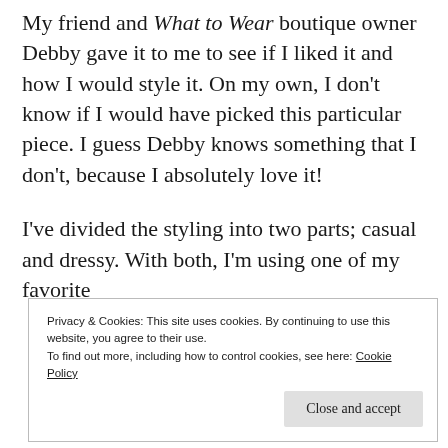My friend and What to Wear boutique owner Debby gave it to me to see if I liked it and how I would style it. On my own, I don't know if I would have picked this particular piece. I guess Debby knows something that I don't, because I absolutely love it!
I've divided the styling into two parts; casual and dressy. With both, I'm using one of my favorite
Privacy & Cookies: This site uses cookies. By continuing to use this website, you agree to their use.
To find out more, including how to control cookies, see here: Cookie Policy